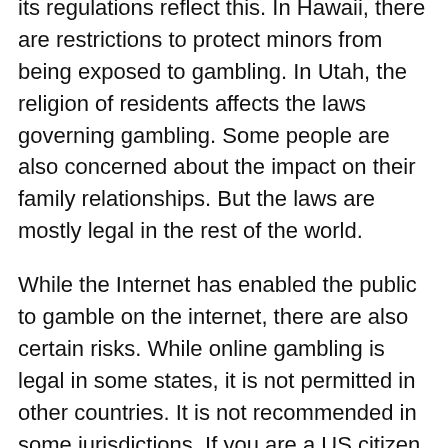its regulations reflect this. In Hawaii, there are restrictions to protect minors from being exposed to gambling. In Utah, the religion of residents affects the laws governing gambling. Some people are also concerned about the impact on their family relationships. But the laws are mostly legal in the rest of the world.
While the Internet has enabled the public to gamble on the internet, there are also certain risks. While online gambling is legal in some states, it is not permitted in other countries. It is not recommended in some jurisdictions. If you are a US citizen, it is not allowed to be a part of a casino. Aside from the obvious risks, it is illegal to place wagers on sports. This can lead to problems such as losing money.